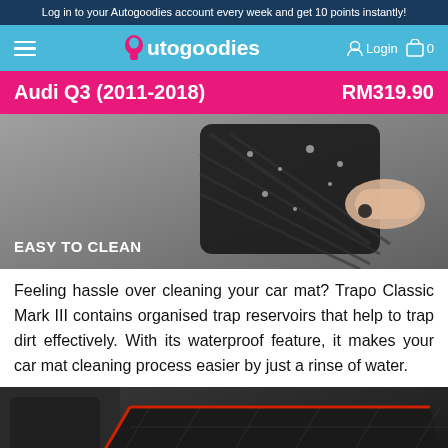Log in to your Autogoodies account every week and get 10 points instantly!
Autogoodies  Login  0
Audi Q3 (2011-2018)  RM319.90
[Figure (photo): Person holding a black car mat with EASY TO CLEAN label overlay]
Feeling hassle over cleaning your car mat? Trapo Classic Mark III contains organised trap reservoirs that help to trap dirt effectively. With its waterproof feature, it makes your car mat cleaning process easier by just a rinse of water.
[Figure (photo): Car interior showing black car mat with red trim installed on floor]